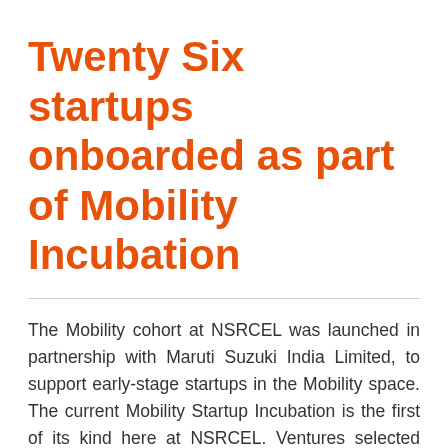Twenty Six startups onboarded as part of Mobility Incubation
The Mobility cohort at NSRCEL was launched in partnership with Maruti Suzuki India Limited, to support early-stage startups in the Mobility space. The current Mobility Startup Incubation is the first of its kind here at NSRCEL. Ventures selected under this program will go through a pre-incubation period for 3 months post which potential